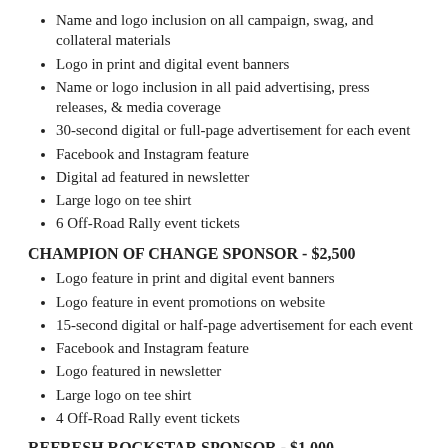Name and logo inclusion on all campaign, swag, and collateral materials
Logo in print and digital event banners
Name or logo inclusion in all paid advertising, press releases, & media coverage
30-second digital or full-page advertisement for each event
Facebook and Instagram feature
Digital ad featured in newsletter
Large logo on tee shirt
6 Off-Road Rally event tickets
CHAMPION OF CHANGE SPONSOR - $2,500
Logo feature in print and digital event banners
Logo feature in event promotions on website
15-second digital or half-page advertisement for each event
Facebook and Instagram feature
Logo featured in newsletter
Large logo on tee shirt
4 Off-Road Rally event tickets
REFRESH ROCKSTAR SPONSOR - $1,000
Featured sponsor of Match Challenge